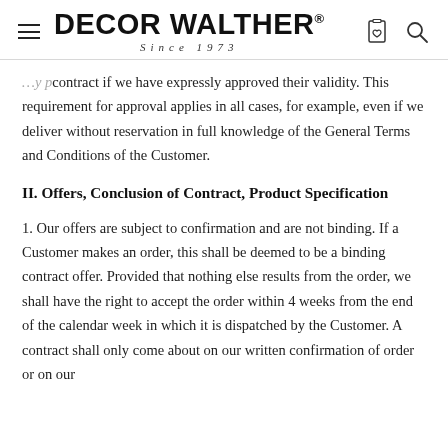DECOR WALTHER® Since 1973
contract if we have expressly approved their validity. This requirement for approval applies in all cases, for example, even if we deliver without reservation in full knowledge of the General Terms and Conditions of the Customer.
II. Offers, Conclusion of Contract, Product Specification
1. Our offers are subject to confirmation and are not binding. If a Customer makes an order, this shall be deemed to be a binding contract offer. Provided that nothing else results from the order, we shall have the right to accept the order within 4 weeks from the end of the calendar week in which it is dispatched by the Customer. A contract shall only come about on our written confirmation of order or on our